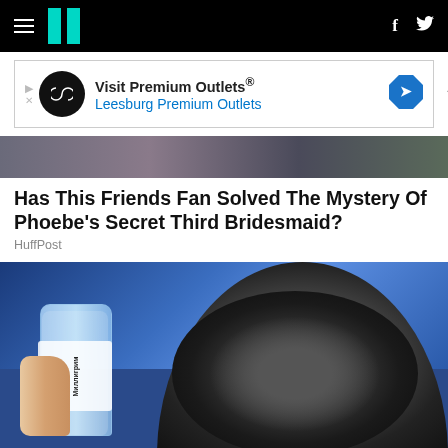HuffPost navigation bar with hamburger menu, logo, Facebook and Twitter icons
[Figure (other): Advertisement banner: Visit Premium Outlets® / Leesburg Premium Outlets with logo and diamond arrow icon]
[Figure (photo): Partial image of a Friends TV show scene with characters]
Has This Friends Fan Solved The Mystery Of Phoebe's Secret Third Bridesmaid?
HuffPost
[Figure (photo): Photo of a hand holding a water bottle (Миллигрим brand) against a car tire/wheel arch]
Put A Bottle On Your Car Tire When Parking Alone